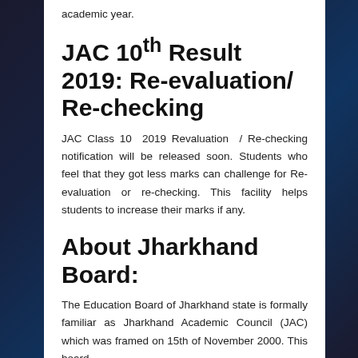academic year.
JAC 10th Result 2019: Re-evaluation/ Re-checking
JAC Class 10 2019 Revaluation / Re-checking notification will be released soon. Students who feel that they got less marks can challenge for Re-evaluation or re-checking. This facility helps students to increase their marks if any.
About Jharkhand Board:
The Education Board of Jharkhand state is formally familiar as Jharkhand Academic Council (JAC) which was framed on 15th of November 2000. This board